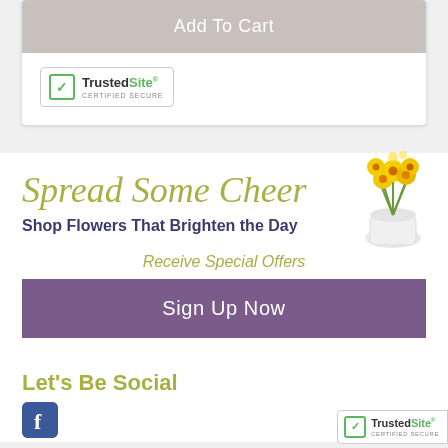Add To Cart
[Figure (logo): TrustedSite Certified Secure badge with green checkmark]
Spread Some Cheer
Shop Flowers That Brighten the Day
[Figure (illustration): Yellow flowers in a white vase]
Receive Special Offers
Sign Up Now
Let's Be Social
[Figure (logo): Facebook icon - blue rounded square with white F]
[Figure (logo): TrustedSite Certified Secure badge bottom right]